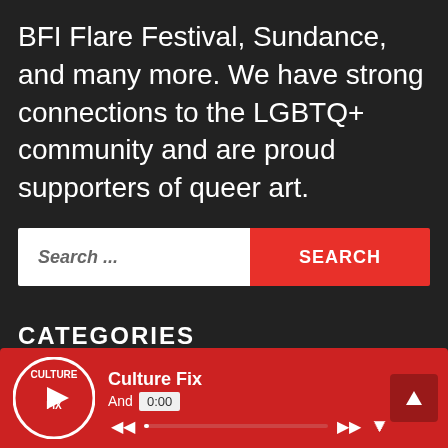BFI Flare Festival, Sundance, and many more. We have strong connections to the LGBTQ+ community and are proud supporters of queer art.
Search ...
SEARCH
CATEGORIES
Select Category
Culture Fix
And... 0:00